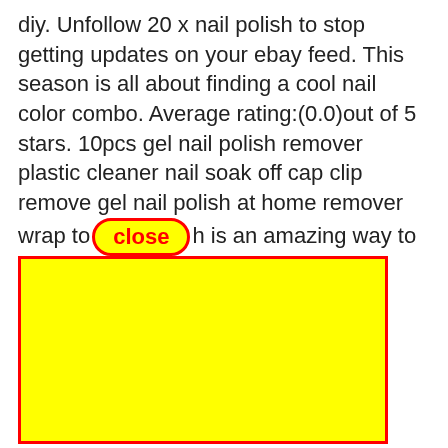diy. Unfollow 20 x nail polish to stop getting updates on your ebay feed. This season is all about finding a cool nail color combo. Average rating:(0.0)out of 5 stars. 10pcs gel nail polish remover plastic cleaner nail soak off cap clip remove gel nail polish at home remover wrap to [close] h is an amazing way to accessorize and add to any outfit. 10 surpr[...] lish. It can [...] orful kicks [...] matc [...] me the n [...] es with a [...] ster than [...]
[Figure (other): Yellow rectangle with red border overlaying text content]
Nail [...] t 3
X 8 Ml Mermaid